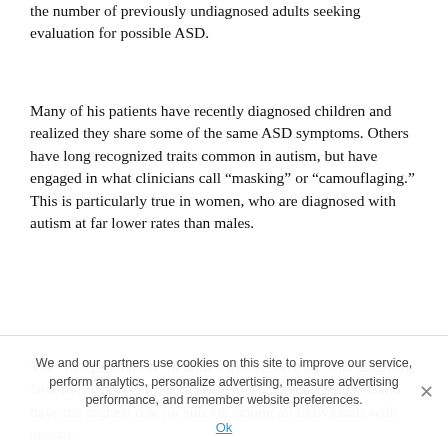the number of previously undiagnosed adults seeking evaluation for possible ASD.
Many of his patients have recently diagnosed children and realized they share some of the same ASD symptoms. Others have long recognized traits common in autism, but have engaged in what clinicians call “masking” or “camouflaging.” This is particularly true in women, who are diagnosed with autism at far lower rates than males.
The “lost generation” of adults who receive an ASD diagnosis later in life have a lower quality of life, studies suggest, and have the highest risk for suicide among all individuals with autism.
The recent study from Li and colleagues offers new
We and our partners use cookies on this site to improve our service, perform analytics, personalize advertising, measure advertising performance, and remember website preferences.